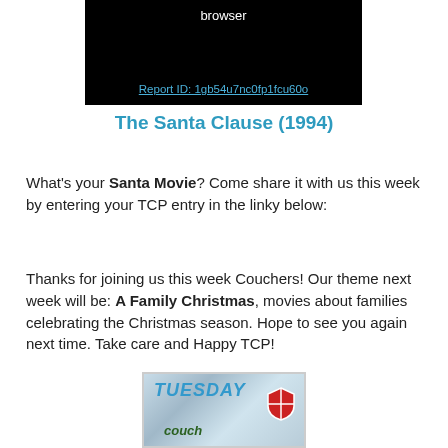[Figure (screenshot): Black background box showing 'browser' text and a report ID link: Report ID: 1gb54u7nc0fp1fcu60o]
The Santa Clause (1994)
What's your Santa Movie? Come share it with us this week by entering your TCP entry in the linky below:
Thanks for joining us this week Couchers! Our theme next week will be: A Family Christmas, movies about families celebrating the Christmas season. Hope to see you again next time. Take care and Happy TCP!
[Figure (illustration): Tuesday Couch Potato themed image with text 'TUESDAY couch' overlaid on a Christmas-themed illustration]